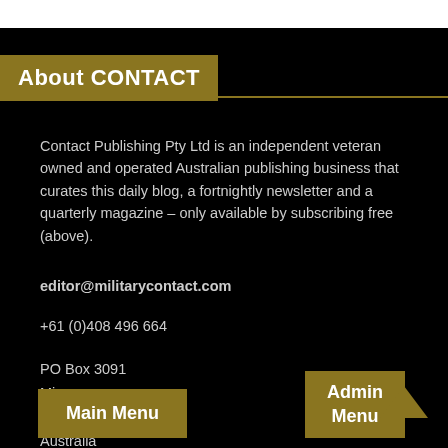About CONTACT
Contact Publishing Pty Ltd is an independent veteran owned and operated Australian publishing business that curates this daily blog, a fortnightly newsletter and a quarterly magazine – only available by subscribing free (above).
editor@militarycontact.com
+61 (0)408 496 664
PO Box 3091
Minnamurra
NSW 2533
Australia
Main Menu
Admin Menu